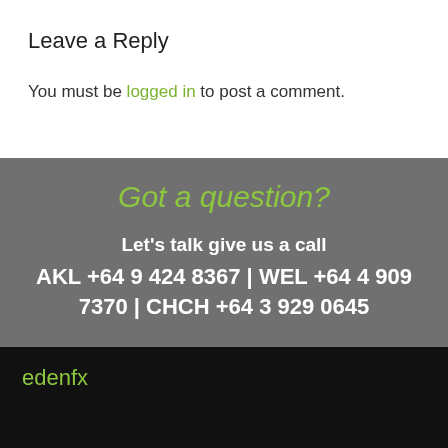Leave a Reply
You must be logged in to post a comment.
Got a question?
Let's talk give us a call AKL +64 9 424 8367 | WEL +64 4 909 7370 | CHCH +64 3 929 0645
edenfx